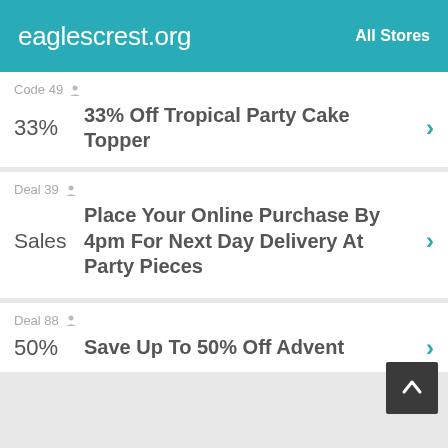eaglescrest.org   All Stores
Code 49
33%  33% Off Tropical Party Cake Topper
Deal 39
Sales  Place Your Online Purchase By 4pm For Next Day Delivery At Party Pieces
Deal 88
50%  Save Up To 50% Off Advent